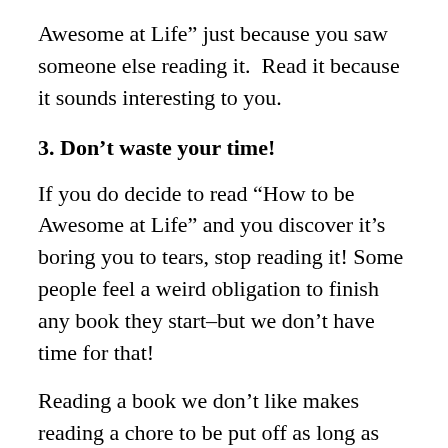Awesome at Life” just because you saw someone else reading it.  Read it because it sounds interesting to you.
3. Don’t waste your time!
If you do decide to read “How to be Awesome at Life” and you discover it’s boring you to tears, stop reading it! Some people feel a weird obligation to finish any book they start–but we don’t have time for that!
Reading a book we don’t like makes reading a chore to be put off as long as